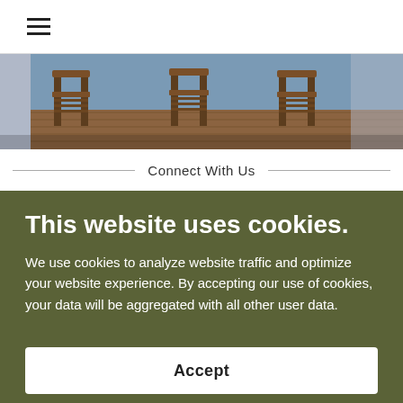≡
[Figure (photo): Outdoor wooden deck chairs photographed from a low angle, warm tones, partially cropped]
Connect With Us
This website uses cookies.
We use cookies to analyze website traffic and optimize your website experience. By accepting our use of cookies, your data will be aggregated with all other user data.
Accept